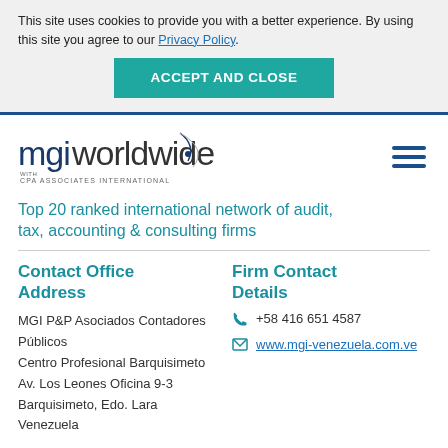This site uses cookies to provide you with a better experience. By using this site you agree to our Privacy Policy.
ACCEPT AND CLOSE
[Figure (logo): MGI Worldwide with CPA Associates International logo]
Top 20 ranked international network of audit, tax, accounting & consulting firms
Contact Office Address
Firm Contact Details
MGI P&P Asociados Contadores Públicos
Centro Profesional Barquisimeto
Av. Los Leones Oficina 9-3
Barquisimeto, Edo. Lara
Venezuela
+58 416 651 4587
www.mgi-venezuela.com.ve